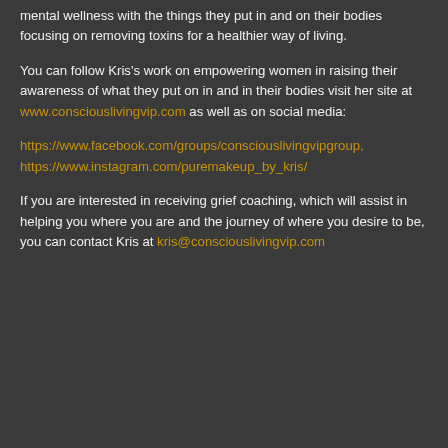mental wellness with the things they put in and on their bodies focusing on removing toxins for a healthier way of living.
You can follow Kris's work on empowering women in raising their awareness of what they put on in and in their bodies visit her site at www.consciouslivingvip.com as well as on social media:
https://www.facebook.com/groups/consciouslivingvipgroup, https://www.instagram.com/puremakeup_by_kris/
If you are interested in receiving grief coaching, which will assist in helping you where you are and the journey of where you desire to be, you can contact Kris at kris@consciouslivingvip.com